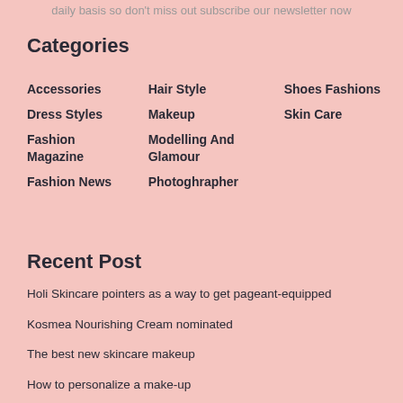daily basis so don't miss out subscribe our newsletter now
Categories
Accessories
Hair Style
Shoes Fashions
Dress Styles
Makeup
Skin Care
Fashion Magazine
Modelling And Glamour
Fashion News
Photoghrapher
Recent Post
Holi Skincare pointers as a way to get pageant-equipped
Kosmea Nourishing Cream nominated
The best new skincare makeup
How to personalize a make-up